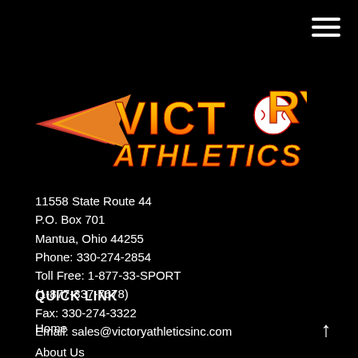[Figure (logo): Victory Athletics Inc. logo with flaming baseball and yellow/red text on black background]
11558 State Route 44
P.O. Box 701
Mantua, Ohio 44255
Phone: 330-274-2854
Toll Free: 1-877-33-SPORT
(1-877-337-7678)
Fax: 330-274-3322
Email: sales@victoryathleticsinc.com
QUICK LINK
Home
About Us